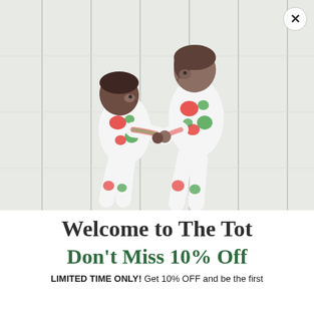[Figure (photo): Two children wearing matching watermelon-print pajamas, standing face to face and holding hands against a white wood panel background. The shorter child on the left looks up at the taller child on the right.]
Welcome to The Tot
Don’t Miss 10% Off
LIMITED TIME ONLY! Get 10% OFF and be the first